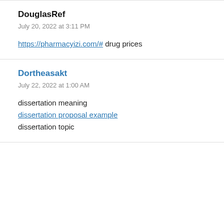DouglasRef
July 20, 2022 at 3:11 PM
https://pharmacyizi.com/# drug prices
Dortheasakt
July 22, 2022 at 1:00 AM
dissertation meaning
dissertation proposal example
dissertation topic